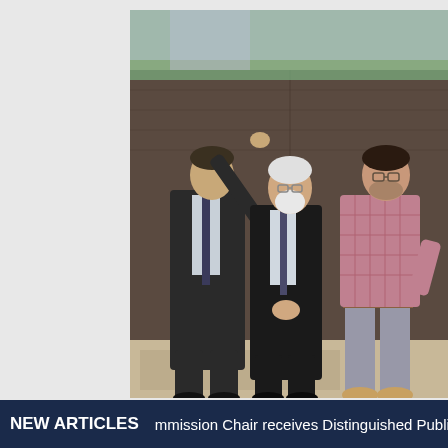[Figure (photo): Three men standing outdoors in front of a large dark stone wall. The man on the left is wearing a dark suit and has his right arm raised gesturing. The man in the middle is wearing a dark suit with a tie and has white hair and a beard. The man on the right is wearing a pink/red checked shirt and grey pants. They appear to be at a memorial or monument.]
NEW ARTICLES   mmission Chair receives Distinguished Public S